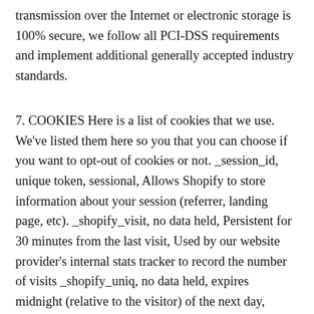transmission over the Internet or electronic storage is 100% secure, we follow all PCI-DSS requirements and implement additional generally accepted industry standards.
7. COOKIES Here is a list of cookies that we use. We've listed them here so you that you can choose if you want to opt-out of cookies or not. _session_id, unique token, sessional, Allows Shopify to store information about your session (referrer, landing page, etc). _shopify_visit, no data held, Persistent for 30 minutes from the last visit, Used by our website provider's internal stats tracker to record the number of visits _shopify_uniq, no data held, expires midnight (relative to the visitor) of the next day, Counts the number of visits to a store by a single customer. cart, unique token, persistent for 2 weeks, Stores information about the contents of your cart. _secure_session_id, unique token, sessional storefront_digest, unique token, indefinite If the shop has a password, this is used to determine if the current visitor